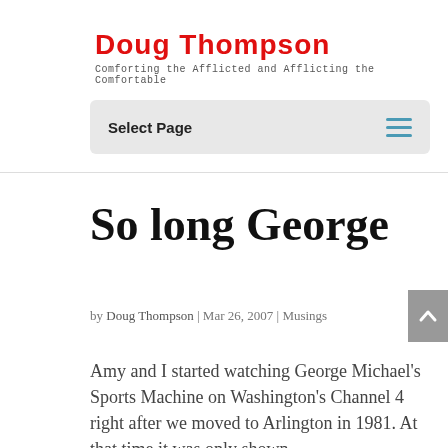Doug Thompson
Comforting the Afflicted and Afflicting the Comfortable
Select Page
So long George
by Doug Thompson | Mar 26, 2007 | Musings
Amy and I started watching George Michael's Sports Machine on Washington's Channel 4 right after we moved to Arlington in 1981. At that time it was only shown